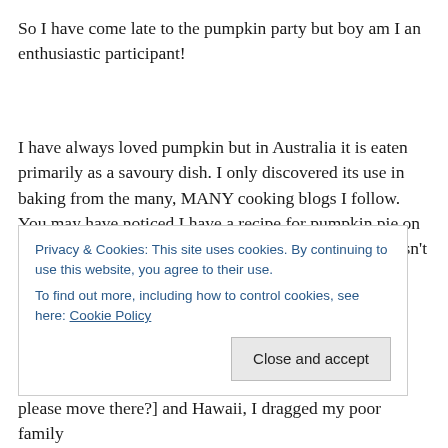So I have come late to the pumpkin party but boy am I an enthusiastic participant!
I have always loved pumpkin but in Australia it is eaten primarily as a savoury dish. I only discovered its use in baking from the many, MANY cooking blogs I follow. You may have noticed I have a recipe for pumpkin pie on my blog [sooo very delicious] but as canned pumpkin isn't
Privacy & Cookies: This site uses cookies. By continuing to use this website, you agree to their use.
To find out more, including how to control cookies, see here: Cookie Policy
please move there?] and Hawaii, I dragged my poor family